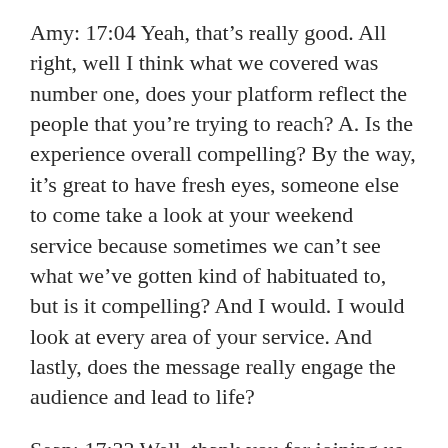Amy: 17:04 Yeah, that's really good. All right, well I think what we covered was number one, does your platform reflect the people that you're trying to reach? A. Is the experience overall compelling? By the way, it's great to have fresh eyes, someone else to come take a look at your weekend service because sometimes we can't see what we've gotten kind of habituated to, but is it compelling? And I would. I would look at every area of your service. And lastly, does the message really engage the audience and lead to life?
Sean: 17:33 Well, thank you for joining us today. If this conversation or any of our podcasts have helped you, we'd love it if you'd consider leaving us a review on itunes so that'll help more leaders find